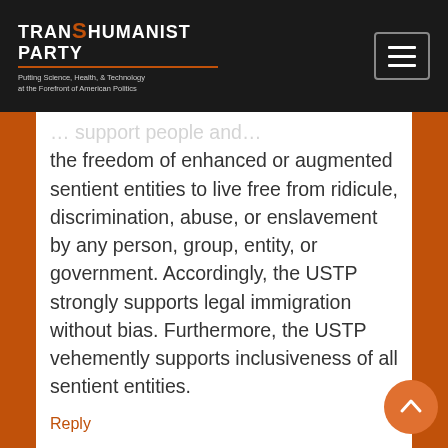Transhumanist Party — Putting Science, Health, & Technology at the Forefront of American Politics
the freedom of enhanced or augmented sentient entities to live free from ridicule, discrimination, abuse, or enslavement by any person, group, entity, or government. Accordingly, the USTP strongly supports legal immigration without bias. Furthermore, the USTP vehemently supports inclusiveness of all sentient entities.
Reply
Adeel Khan says: